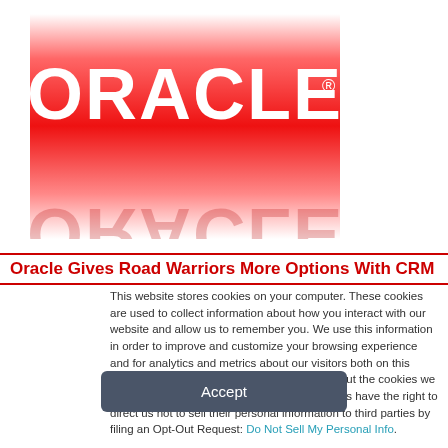[Figure (logo): Oracle logo with red gradient background and white ORACLE text, with a mirror reflection below]
Oracle Gives Road Warriors More Options With CRM
This website stores cookies on your computer. These cookies are used to collect information about how you interact with our website and allow us to remember you. We use this information in order to improve and customize your browsing experience and for analytics and metrics about our visitors both on this website and other media. To find out more about the cookies we use, see our Privacy Policy. California residents have the right to direct us not to sell their personal information to third parties by filing an Opt-Out Request: Do Not Sell My Personal Info.
Accept